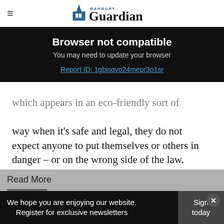Banbury Guardian
Browser not compatible
You may need to update your browser
Report ID: 1gbisqvo24mepr3o1sr
which appears in an eco-friendly sort of way when it’s safe and legal, they do not expect anyone to put themselves or others in danger – or on the wrong side of the law.
Read More
Driving penalty points: UK towns and cities wi...
We hope you are enjoying our website. Register for exclusive newsletters
Sign today